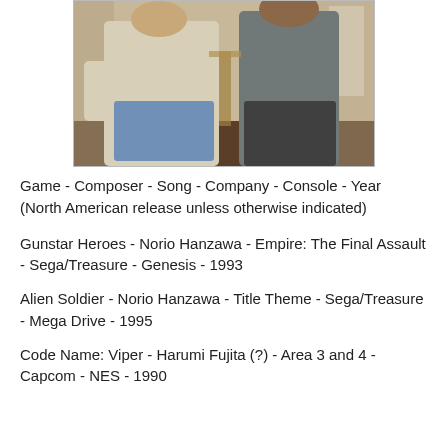[Figure (photo): Two people posing indoors, one in a white t-shirt and jeans on the left, one in a gray shirt and dark pants on the right.]
Game - Composer - Song - Company - Console - Year (North American release unless otherwise indicated)
Gunstar Heroes - Norio Hanzawa - Empire: The Final Assault - Sega/Treasure - Genesis - 1993
Alien Soldier - Norio Hanzawa - Title Theme - Sega/Treasure - Mega Drive - 1995
Code Name: Viper - Harumi Fujita (?) - Area 3 and 4 - Capcom - NES - 1990